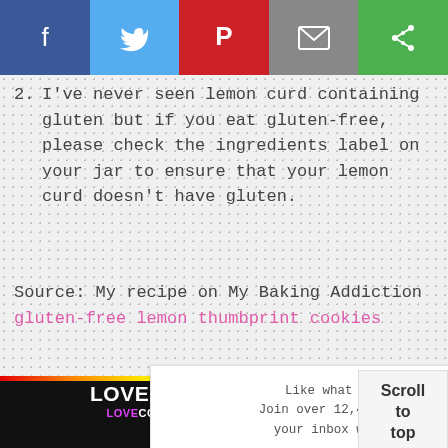[Figure (other): Social media share buttons bar: Facebook (blue), Twitter (light blue), Pinterest (red), Email (grey), and another share option (green)]
2. I've never seen lemon curd containing gluten but if you eat gluten-free, please check the ingredients label on your jar to ensure that your lemon curd doesn't have gluten.
Source: My recipe on My Baking Addiction gluten-free lemon thumbprint cookies
Like what you see and want more? Join over 12,400 readers and sweeten up your inbox with new posts for free!
Scroll to top
[Figure (infographic): Advertisement banner: LOVE IS A HUMAN RIGHT with rainbow bar, LOVE COMPASSION CHARITY BELONGING subtitle with colored text]